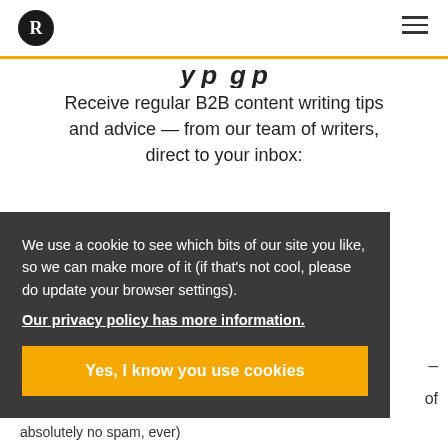R [logo] [hamburger menu]
y p g p
Receive regular B2B content writing tips and advice — from our team of writers, direct to your inbox:
We use a cookie to see which bits of our site you like, so we can make more of it (if that's not cool, please do update your browser settings). Our privacy policy has more information.
Yes, I know you use cookies
absolutely no spam, ever)